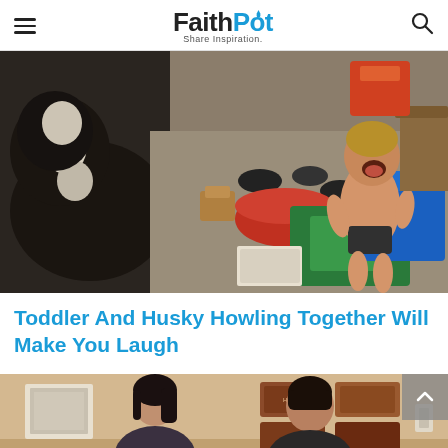FaithPot — Share Inspiration
[Figure (photo): A toddler in a diaper laughing with mouth wide open, standing in a living room with toys scattered on the floor. A black and white husky dog is visible on the left side, appearing to howl.]
Toddler And Husky Howling Together Will Make You Laugh
[Figure (photo): A woman and a man seen from behind in a home interior with wall decorations/signs visible in the background.]